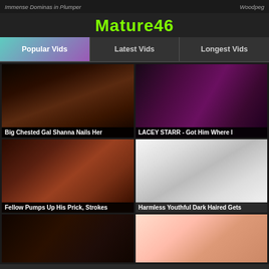Immense Dominas in Plumper | Woodpeg
Mature46
Popular Vids | Latest Vids | Longest Vids
Big Chested Gal Shanna Nails Her
LACEY STARR - Got Him Where I
Fellow Pumps Up His Prick, Strokes
Harmless Youthful Dark Haired Gets